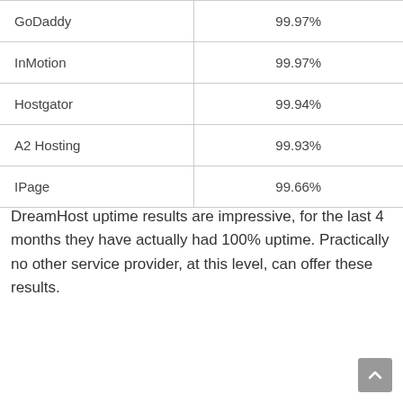| GoDaddy | 99.97% |
| InMotion | 99.97% |
| Hostgator | 99.94% |
| A2 Hosting | 99.93% |
| IPage | 99.66% |
DreamHost uptime results are impressive, for the last 4 months they have actually had 100% uptime. Practically no other service provider, at this level, can offer these results.